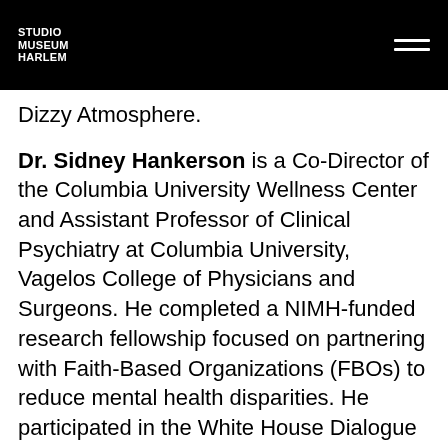Studio Museum Harlem
Dizzy Atmosphere.
Dr. Sidney Hankerson is a Co-Director of the Columbia University Wellness Center and Assistant Professor of Clinical Psychiatry at Columbia University, Vagelos College of Physicians and Surgeons. He completed a NIMH-funded research fellowship focused on partnering with Faith-Based Organizations (FBOs) to reduce mental health disparities. He participated in the White House Dialogue on Men's Health after publishing the first-ever depression screening study in African-American